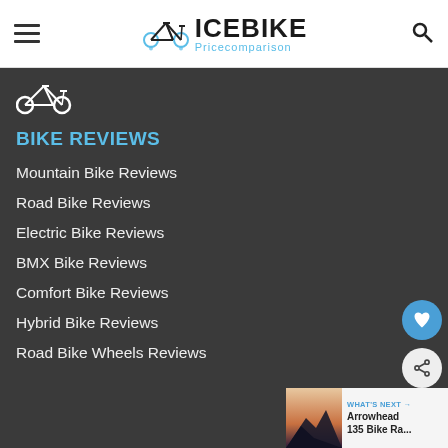ICEBIKE Pricecomparison
[Figure (logo): Bicycle icon in white outline style]
BIKE REVIEWS
Mountain Bike Reviews
Road Bike Reviews
Electric Bike Reviews
BMX Bike Reviews
Comfort Bike Reviews
Hybrid Bike Reviews
Road Bike Wheels Reviews
WHAT'S NEXT → Arrowhead 135 Bike Ra...